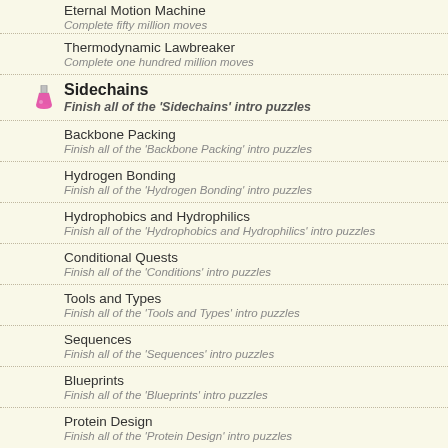Eternal Motion Machine
Complete fifty million moves
Thermodynamic Lawbreaker
Complete one hundred million moves
Sidechains
Finish all of the 'Sidechains' intro puzzles
Backbone Packing
Finish all of the 'Backbone Packing' intro puzzles
Hydrogen Bonding
Finish all of the 'Hydrogen Bonding' intro puzzles
Hydrophobics and Hydrophilics
Finish all of the 'Hydrophobics and Hydrophilics' intro puzzles
Conditional Quests
Finish all of the 'Conditions' intro puzzles
Tools and Types
Finish all of the 'Tools and Types' intro puzzles
Sequences
Finish all of the 'Sequences' intro puzzles
Blueprints
Finish all of the 'Blueprints' intro puzzles
Protein Design
Finish all of the 'Protein Design' intro puzzles
More Molecules
Finish all of the 'More Molecules' intro puzzles
Evolver
Improve someone else's solution
Teamwork